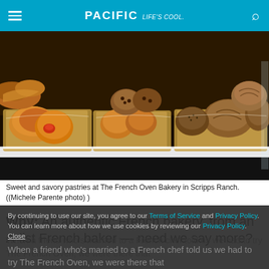PACIFIC Life's cool.
[Figure (photo): Baskets of sweet and savory pastries displayed in a bakery case at The French Oven Bakery in Scripps Ranch. Various breads, rolls, croissants, and pastries visible in wicker baskets.]
Sweet and savory pastries at The French Oven Bakery in Scripps Ranch.  ((Michele Parente photo) )
Why: An authentic French bakery, from an A-list French baker — need we say more?
By continuing to use our site, you agree to our Terms of Service and Privacy Policy. You can learn more about how we use cookies by reviewing our Privacy Policy. Close
When a friend who's married to a French chef told us we had to try The French Oven, we were there that weekend. Savory baked fifths oven-ing French bl